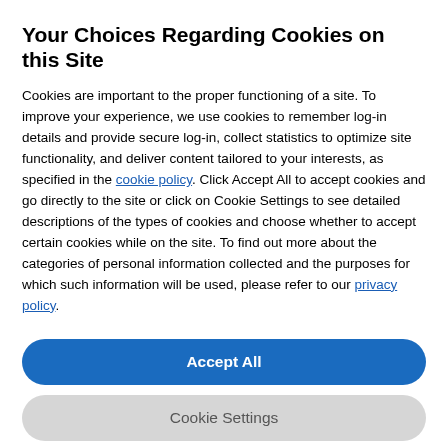Your Choices Regarding Cookies on this Site
Cookies are important to the proper functioning of a site. To improve your experience, we use cookies to remember log-in details and provide secure log-in, collect statistics to optimize site functionality, and deliver content tailored to your interests, as specified in the cookie policy. Click Accept All to accept cookies and go directly to the site or click on Cookie Settings to see detailed descriptions of the types of cookies and choose whether to accept certain cookies while on the site. To find out more about the categories of personal information collected and the purposes for which such information will be used, please refer to our privacy policy.
Accept All (button)
Cookie Settings (button)
studying into your busy schedule. If you want time, study in the evenings or on weekends. If children, study in the evenings or the day while they're at school.
Are you worried about money?